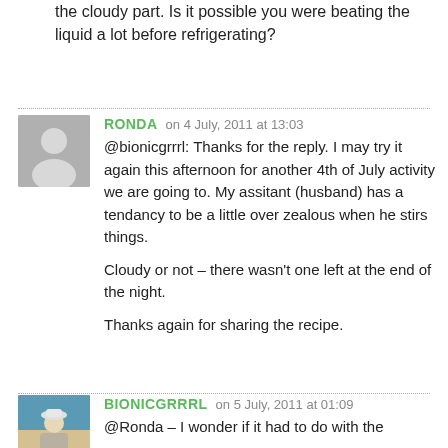the cloudy part. Is it possible you were beating the liquid a lot before refrigerating?
RONDA on 4 July, 2011 at 13:03
@bionicgrrrl: Thanks for the reply. I may try it again this afternoon for another 4th of July activity we are going to. My assitant (husband) has a tendancy to be a little over zealous when he stirs things.

Cloudy or not – there wasn't one left at the end of the night.

Thanks again for sharing the recipe.
BIONICGRRRL on 5 July, 2011 at 01:09
@Ronda – I wonder if it had to do with the